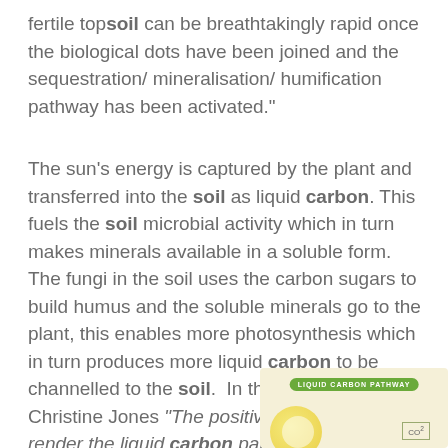fertile topsoil can be breathtakingly rapid once the biological dots have been joined and the sequestration/ mineralisation/ humification pathway has been activated."
The sun's energy is captured by the plant and transferred into the soil as liquid carbon. This fuels the soil microbial activity which in turn makes minerals available in a soluble form. The fungi in the soil uses the carbon sugars to build humus and the soluble minerals go to the plant, this enables more photosynthesis which in turn produces more liquid carbon to be channelled to the soil.  In the words of Dr Christine Jones "The positive feedback loops render the liquid carbon pathway somewhat akin to perpetual motion."
[Figure (infographic): Partial view of a 'Liquid Carbon Pathway' infographic diagram showing a green badge/label reading 'LIQUID CARBON PATHWAY', a yellow sun circle, and a CO2 box, on a cream/tan background.]